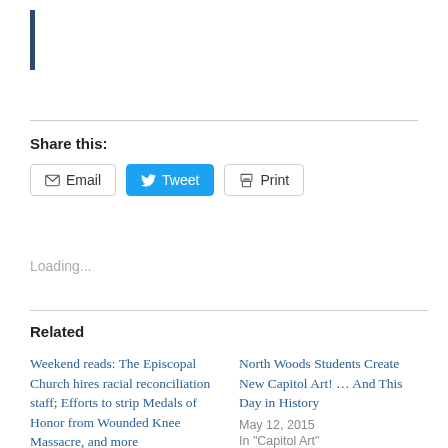[Figure (other): Vertical dark blue bar decorative element]
Share this:
Email  Tweet  Print
Loading...
Related
Weekend reads: The Episcopal Church hires racial reconciliation staff; Efforts to strip Medals of Honor from Wounded Knee Massacre, and more
December 7, 2019
In "News"
North Woods Students Create New Capitol Art! … And This Day in History
May 12, 2015
In "Capitol Art"